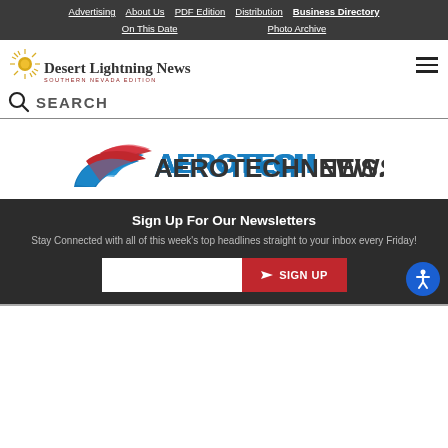Advertising | About Us | PDF Edition | Distribution | Business Directory | On This Date | Photo Archive
[Figure (logo): Desert Lightning News - Southern Nevada Edition logo with sun graphic]
SEARCH
[Figure (logo): AerotechNews.com logo with red and blue wing graphic]
Sign Up For Our Newsletters
Stay Connected with all of this week's top headlines straight to your inbox every Friday!